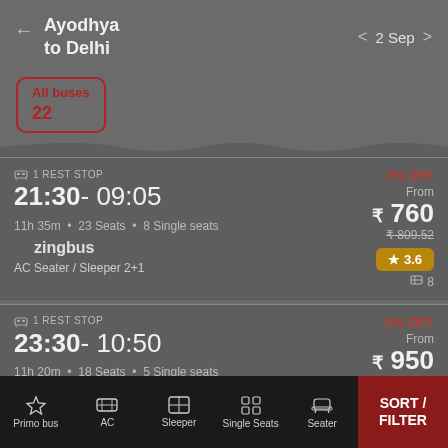← Ayodhya to Delhi | < 2 Sep >
All buses
22
🚌 1 REST STOP
21:30- 09:05
11h 35m • 23 Seats • 8 Single seats
zingbus
AC Seater / Sleeper 2+1 | 7% OFF | From ₹ 760 | ₹809.52 | ★ 3.6 | 🪑 8
🚌 1 REST STOP
23:30- 10:50
11h 20m • 18 Seats • 5 Single seats | 5% OFF | From ₹ 950 | ₹1000
Primo bus | AC | Sleeper | Single Seats | Seater | SORT / FILTER